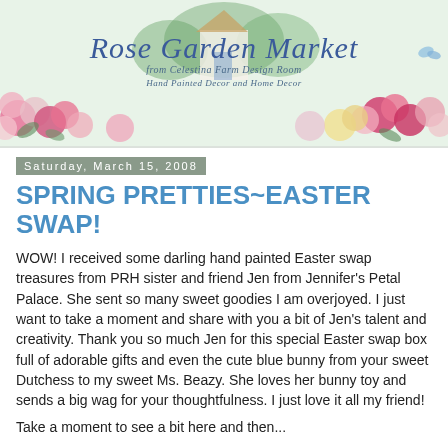[Figure (illustration): Rose Garden Market banner with watercolor roses, house, trees, and script/italic blue title text reading 'Rose Garden Market' with subtitle lines below]
Saturday, March 15, 2008
SPRING PRETTIES~EASTER SWAP!
WOW! I received some darling hand painted Easter swap treasures from PRH sister and friend Jen from Jennifer's Petal Palace. She sent so many sweet goodies I am overjoyed. I just want to take a moment and share with you a bit of Jen's talent and creativity. Thank you so much Jen for this special Easter swap box full of adorable gifts and even the cute blue bunny from your sweet Dutchess to my sweet Ms. Beazy. She loves her bunny toy and sends a big wag for your thoughtfulness. I just love it all my friend!
Take a moment to see a bit here and then...